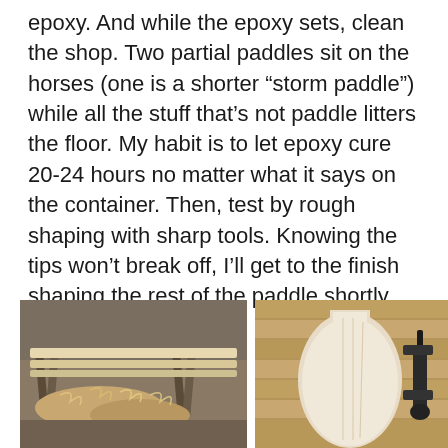epoxy. And while the epoxy sets, clean the shop. Two partial paddles sit on the horses (one is a shorter “storm paddle”) while all the stuff that’s not paddle litters the floor. My habit is to let epoxy cure 20-24 hours no matter what it says on the container. Then, test by rough shaping with sharp tools. Knowing the tips won’t break off, I’ll get to the finish shaping the rest of the paddle shortly.
[Figure (photo): Workshop photo showing wood shavings on sawhorses with long wooden paddle blanks being shaped]
[Figure (photo): Photo of a partially shaped wooden paddle blade on a wooden floor next to a clamp tool]